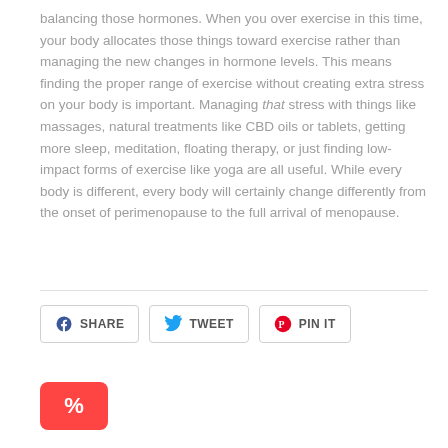balancing those hormones. When you over exercise in this time, your body allocates those things toward exercise rather than managing the new changes in hormone levels. This means finding the proper range of exercise without creating extra stress on your body is important. Managing that stress with things like massages, natural treatments like CBD oils or tablets, getting more sleep, meditation, floating therapy, or just finding low-impact forms of exercise like yoga are all useful. While every body is different, every body will certainly change differently from the onset of perimenopause to the full arrival of menopause.
[Figure (other): Social share buttons: SHARE (Facebook), TWEET (Twitter), PIN IT (Pinterest)]
[Figure (other): Red discount/percentage button at bottom left]